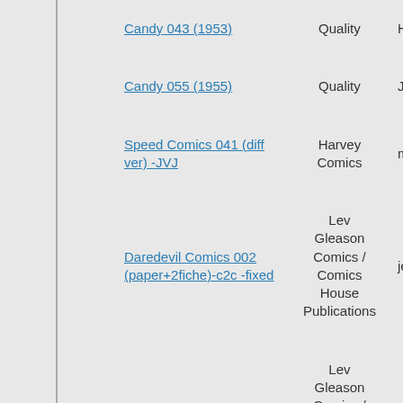| Title | Publisher | User |
| --- | --- | --- |
| Candy 043 (1953) | Quality | Henry P... |
| Candy 055 (1955) | Quality | JonTheSo... |
| Speed Comics 041 (diff ver) -JVJ | Harvey Comics | movield... |
| Daredevil Comics 002 (paper+2fiche)-c2c -fixed | Lev Gleason Comics / Comics House Publications | jeffcan... |
| Daredevil Comics 101 | Lev Gleason Comics / Comics House Publications | shazam... |
| Green Lama 007 | Spark Publications | Henry P... |
| Smash Comics 009 | Quality | Henry P... |